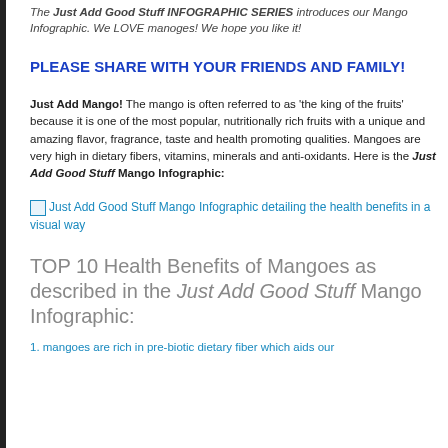The Just Add Good Stuff INFOGRAPHIC SERIES introduces our Mango Infographic. We LOVE manoges! We hope you like it!
PLEASE SHARE WITH YOUR FRIENDS AND FAMILY!
Just Add Mango! The mango is often referred to as 'the king of the fruits' because it is one of the most popular, nutritionally rich fruits with a unique and amazing flavor, fragrance, taste and health promoting qualities. Mangoes are very high in dietary fibers, vitamins, minerals and anti-oxidants. Here is the Just Add Good Stuff Mango Infographic:
[Figure (infographic): Just Add Good Stuff Mango Infographic detailing the health benefits in a visual way]
TOP 10 Health Benefits of Mangoes as described in the Just Add Good Stuff Mango Infographic:
1. mangoes are rich in pre-biotic dietary fiber which aids our